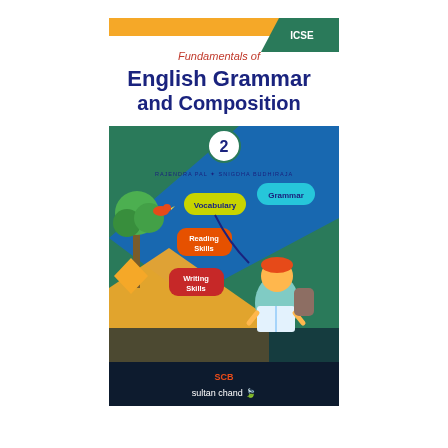[Figure (illustration): Book cover for 'Fundamentals of English Grammar and Composition' Book 2, ICSE edition, by Rajendra Pal and Snigdha Budhiraja, published by Sultan Chand. The cover features an illustration with colorful topic bubbles (Vocabulary, Grammar, Reading Skills, Writing Skills), a student reading, decorative trees and birds, and a blue/green/orange geometric background.]